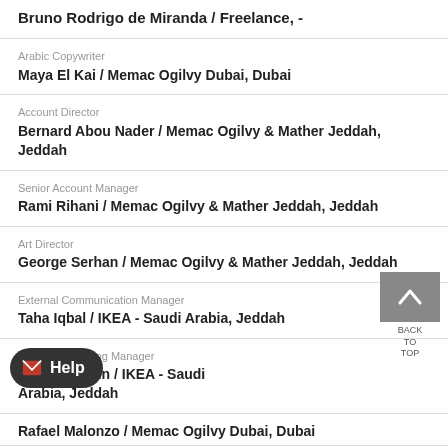Bruno Rodrigo de Miranda / Freelance, -
Arabic Copywriter
Maya El Kai / Memac Ogilvy Dubai, Dubai
Account Director
Bernard Abou Nader / Memac Ogilvy & Mather Jeddah, Jeddah
Senior Account Manager
Rami Rihani / Memac Ogilvy & Mather Jeddah, Jeddah
Art Director
George Serhan / Memac Ogilvy & Mather Jeddah, Jeddah
External Communication Manager
Taha Iqbal / IKEA - Saudi Arabia, Jeddah
Country Marketing Manager
Faisal Al Gain / IKEA - Saudi Arabia, Jeddah
Rafael Malonzo / Memac Ogilvy Dubai, Dubai